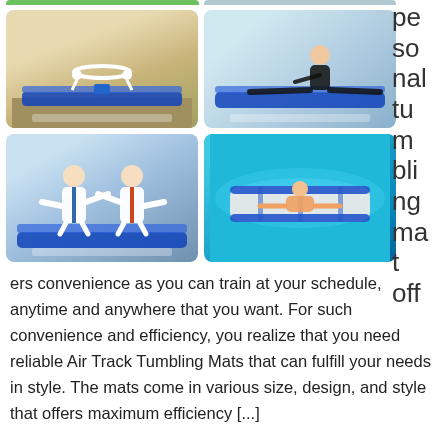[Figure (photo): Four photos showing uses of air track tumbling mats: a gymnast doing a backbend, a girl doing splits, two karate kids sparring, and a person floating on a mat in a pool.]
personal tumbling mat off
ers convenience as you can train at your schedule, anytime and anywhere that you want. For such convenience and efficiency, you realize that you need reliable Air Track Tumbling Mats that can fulfill your needs in style. The mats come in various size, design, and style that offers maximum efficiency […]